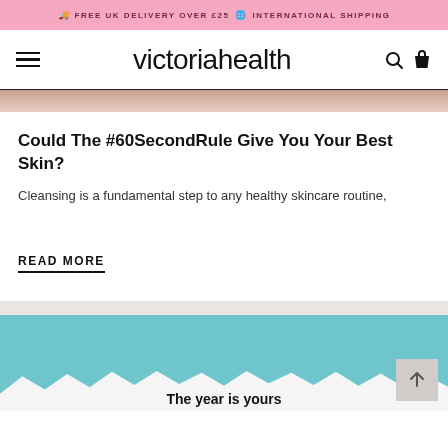🚚 FREE UK DELIVERY OVER £25 🌐 INTERNATIONAL SHIPPING
victoriahealth
[Figure (photo): Partial view of a skin/beauty product image at the top of an article card]
Could The #60SecondRule Give You Your Best Skin?
Cleansing is a fundamental step to any healthy skincare routine,
READ MORE
[Figure (photo): Teal/turquoise background with torn white paper revealing text 'The year is yours']